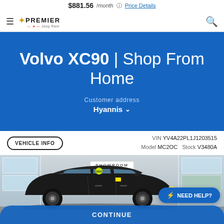$881.56 /month  Price Details
Volvo XC90 | Shop From Home
Customer address Hyannis
VEHICLE INFO  VIN YV4A22PL1J1203515  Model MC2OC  Stock V3480A
[Figure (photo): Photo of a black Volvo XC90 SUV parked in front of a dealership showroom with glass windows and trees in the background. A green year sticker is visible on the windshield.]
NEED HELP?
CONTINUE